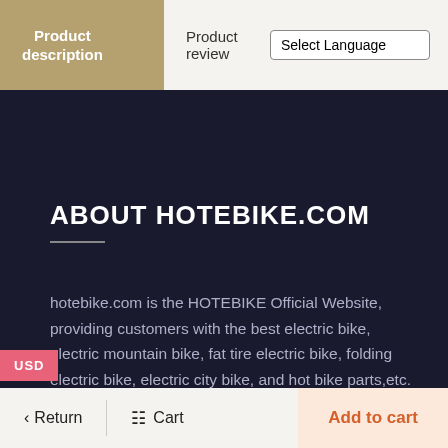Product description | Product review | Select Language
ABOUT HOTEBIKE.COM
hotebike.com is the HOTEBIKE Official Website, providing customers with the best electric bike, electric mountain bike, fat tire electric bike, folding electric bike, electric city bike, and hot bike parts,etc. We have a professional R&D team that we can customize electric bikes for you, and we provide VIP DIY service. Our best selling models are in stock and can be shipped quickly.
Return | Cart | Add to cart